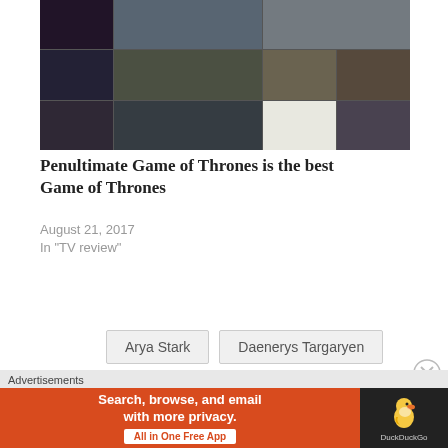[Figure (photo): Collage of Game of Thrones character faces and scenes arranged in a grid mosaic]
Penultimate Game of Thrones is the best Game of Thrones
August 21, 2017
In "TV review"
Arya Stark
Daenerys Targaryen
Advertisements
[Figure (screenshot): DuckDuckGo advertisement banner: Search, browse, and email with more privacy. All in One Free App. Shows DuckDuckGo logo on right side.]